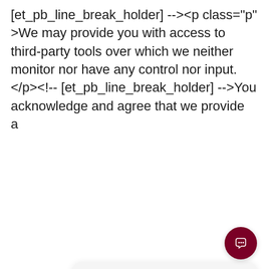[et_pb_line_break_holder] --><p class="p">We may provide you with access to third-party tools over which we neither monitor nor have any control nor input. </p><!-- [et_pb_line_break_holder] -->You acknowledge and agree that we provide a
[Figure (screenshot): A survey modal overlay titled 'HOW DID YOU FIND US TODAY?' with options LinkedIn, Tik Tok, Family/Friend Referral, a text input 'Other (please specify)' and a SUBMIT button. A chat popup with avatar appears overlapping, showing 'Got any questions? I'm happy to help.' A dark red chat button is at the bottom right.]